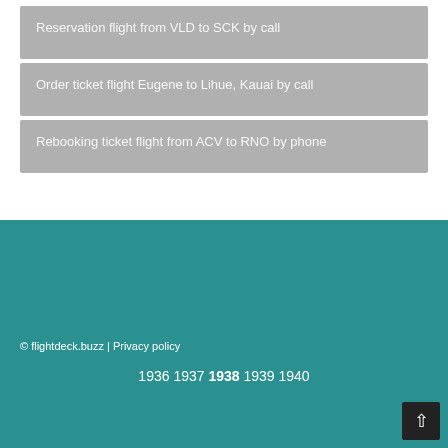Reservation flight from VLD to SCK by call
Order ticket flight Eugene to Lihue, Kauai by call
Rebooking ticket flight from ACV to RNO by phone
© flightdeck.buzz | Privacy policy
1936 1937 1938 1939 1940